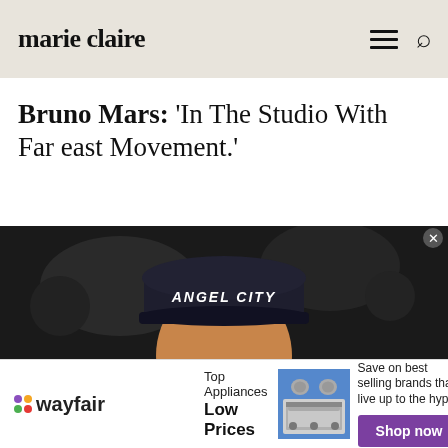marie claire
Bruno Mars: 'In The Studio With Far east Movement.'
[Figure (photo): Bruno Mars performing on stage, smiling, wearing a dark snapback cap with graffiti-style 'ANGEL CITY' text, holding a microphone, wearing an in-ear monitor, dark background]
[Figure (infographic): Wayfair advertisement banner: logo with colored dot, 'Top Appliances Low Prices', image of a kitchen range/stove, 'Save on best selling brands that live up to the hype', purple Shop now button]